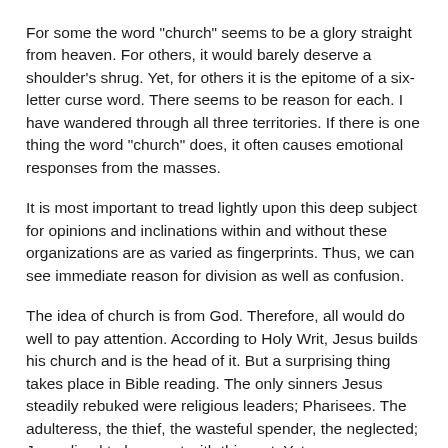For some the word "church" seems to be a glory straight from heaven.  For others, it would barely deserve a shoulder's shrug.  Yet, for others it is the epitome of a six-letter curse word.  There seems to be reason for each.  I have wandered through all three territories.  If there is one thing the word "church" does, it often causes emotional responses from the masses.
It is most important to tread lightly upon this deep subject for opinions and inclinations within and without these organizations are as varied as fingerprints.  Thus, we can see immediate reason for division as well as confusion.
The idea of church is from God.  Therefore, all would do well to pay attention.  According to Holy Writ, Jesus builds his church and is the head of it.  But a surprising thing takes place in Bible reading.  The only sinners Jesus steadily rebuked were religious leaders; Pharisees.  The adulteress, the thief, the wasteful spender, the neglected; Jesus lived to hang out with this sort.  Yet, no one opposed church leaders like Jesus did.